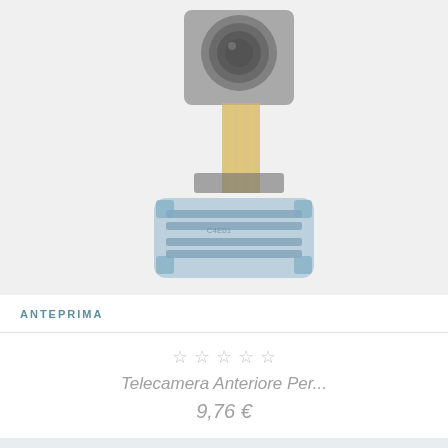[Figure (photo): A front-facing smartphone camera module with a flexible flat cable (FFC/FPC ribbon cable) in gold color and a blue connector at the bottom end. The camera lens is visible at the top. The image is faded/watermarked.]
ANTEPRIMA
☆ ☆ ☆ ☆ ☆
Telecamera Anteriore Per...
9,76 €
AGGIUNGI AL CARRELLO